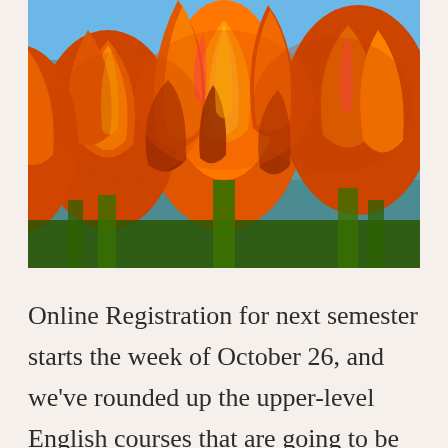[Figure (photo): Close-up photograph of vibrant orange and yellow tulips in full bloom against a blue sky, with green stems visible at the bottom.]
Online Registration for next semester starts the week of October 26, and we've rounded up the upper-level English courses that are going to be offered.